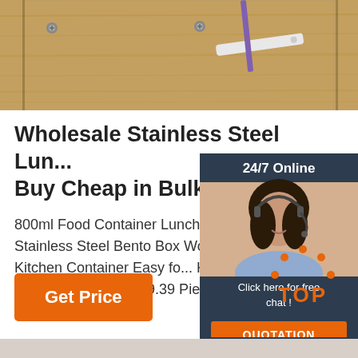[Figure (photo): Top portion of a wooden surface/table background with screws and tools visible, partially cropped]
Wholesale Stainless Steel Lun... Buy Cheap in Bulk ...
800ml Food Container Lunch Box with Lid Stainless Steel Bento Box Wooden layer Food Kitchen Container Easy fo... KKA7844 US $10.12 - 15.32 Piece US... 19.39 Piece
[Figure (screenshot): 24/7 Online chat widget with a woman wearing a headset, 'Click here for free chat!' text, and an orange QUOTATION button]
[Figure (infographic): Orange TOP badge with dots arranged in an arc above the text TOP]
Get Price